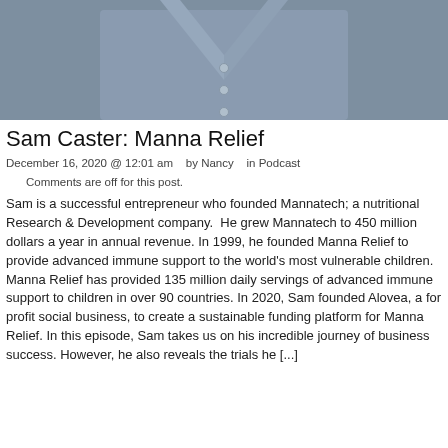[Figure (photo): Photo of a man wearing a grey button-down shirt, cropped to show the chest and collar area.]
Sam Caster: Manna Relief
December 16, 2020 @ 12:01 am   by Nancy   in Podcast
    Comments are off for this post.
Sam is a successful entrepreneur who founded Mannatech; a nutritional Research & Development company.  He grew Mannatech to 450 million dollars a year in annual revenue. In 1999, he founded Manna Relief to provide advanced immune support to the world's most vulnerable children.  Manna Relief has provided 135 million daily servings of advanced immune support to children in over 90 countries. In 2020, Sam founded Alovea, a for profit social business, to create a sustainable funding platform for Manna Relief. In this episode, Sam takes us on his incredible journey of business success. However, he also reveals the trials he [...]